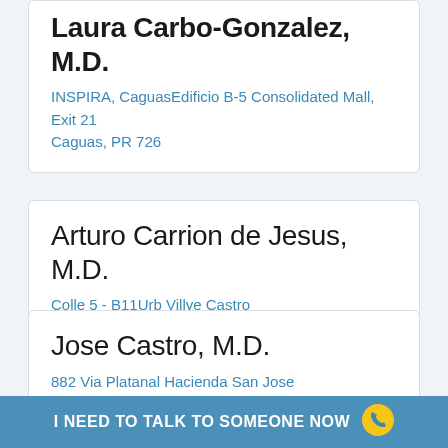Laura Carbo-Gonzalez, M.D.
INSPIRA, CaguasEdificio B-5 Consolidated Mall, Exit 21
Caguas, PR 726
Arturo Carrion de Jesus, M.D.
Colle 5 - B11Urb Villye Castro
Caguas, PR 726
Jose Castro, M.D.
882 Via Platanal Hacienda San Jose
Caguas, PR -2353
I NEED TO TALK TO SOMEONE NOW